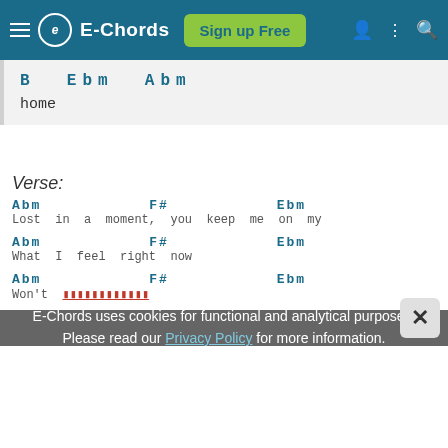E-Chords — Sign up Free
B  Ebm  Abm
home
Verse:
Abm   F#   Ebm   E
Lost  in  a  moment,  you  keep  me  on  my
Abm   F#   Ebm
What  I  feel  right  now
Abm   F#   Ebm
Won't  ___________
E-Chords uses cookies for functional and analytical purposes. Please read our Privacy Policy for more information.